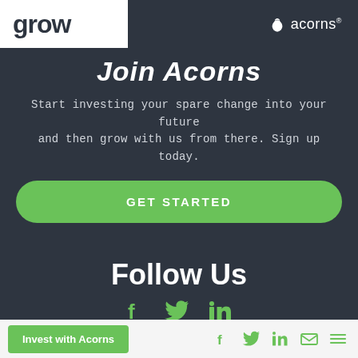grow | acorns®
Join Acorns
Start investing your spare change into your future and then grow with us from there. Sign up today.
GET STARTED
Follow Us
[Figure (infographic): Social media icons: Facebook, Twitter, LinkedIn in green]
All investments involve risk, including loss of principal. The contents presented herein are provided for general investment education and informational purposes only and do not constitute an
Invest with Acorns | social icons: Facebook, Twitter, LinkedIn, Email, Menu